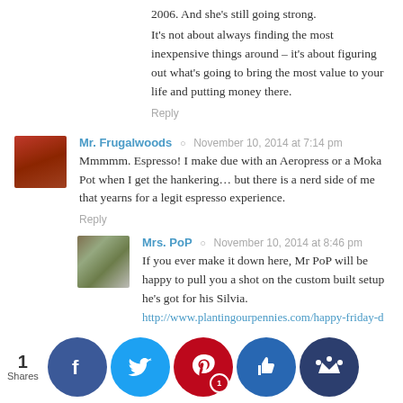2006. And she’s still going strong.
It’s not about always finding the most inexpensive things around – it’s about figuring out what’s going to bring the most value to your life and putting money there.
Reply
Mr. Frugalwoods ○ November 10, 2014 at 7:14 pm
Mmmmm. Espresso! I make due with an Aeropress or a Moka Pot when I get the hankering… but there is a nerd side of me that yearns for a legit espresso experience.
Reply
Mrs. PoP ○ November 10, 2014 at 8:46 pm
If you ever make it down here, Mr PoP will be happy to pull you a shot on the custom built setup he’s got for his Silvia. http://www.plantingourpennies.com/happy-friday-details/ Silvia really is “the other woman” in our marriage. =)
Reply
Frugalw... ○ November 11, 2014 at 8:52 pm
… tha… ing! If… at in m… I’d be… affeinated!
1 Shares